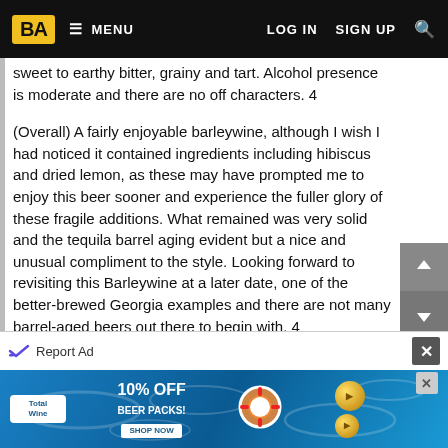BA  MENU  LOG IN  SIGN UP
sweet to earthy bitter, grainy and tart. Alcohol presence is moderate and there are no off characters. 4
(Overall) A fairly enjoyable barleywine, although I wish I had noticed it contained ingredients including hibiscus and dried lemon, as these may have prompted me to enjoy this beer sooner and experience the fuller glory of these fragile additions. What remained was very solid and the tequila barrel aging evident but a nice and unusual compliment to the style. Looking forward to revisiting this Barleywine at a later date, one of the better-brewed Georgia examples and there are not many barrel-aged beers out there to begin with. 4
Wild Heaven Craft Beers'
Height of Civilization
3.94/5.00
[Figure (screenshot): Advertisement banner for Total Wine showing 10% OFF BEER PACKS with coin and life ring imagery on a pool water background]